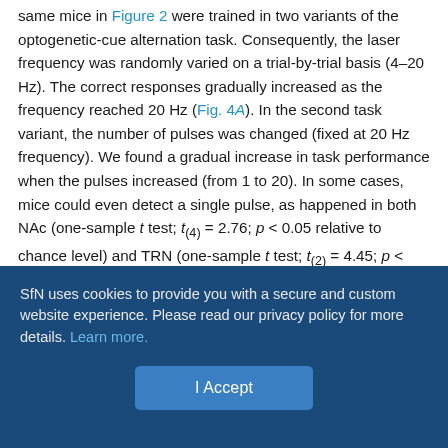same mice in Figure 2 were trained in two variants of the optogenetic-cue alternation task. Consequently, the laser frequency was randomly varied on a trial-by-trial basis (4–20 Hz). The correct responses gradually increased as the frequency reached 20 Hz (Fig. 4A). In the second task variant, the number of pulses was changed (fixed at 20 Hz frequency). We found a gradual increase in task performance when the pulses increased (from 1 to 20). In some cases, mice could even detect a single pulse, as happened in both NAc (one-sample t test; t(4) = 2.76; p < 0.05 relative to chance level) and TRN (one-sample t test; t(2) = 4.45; p < 0.05; Fig. 4B). All regions stimulated in these tasks' variants showed a similar detection profile, except TRN^VGAT mice, which were more sensitive and outperformed in both task variants the other groups. Our results align with previous
SfN uses cookies to provide you with a secure and custom website experience. Please read our privacy policy for more details. Learn more.